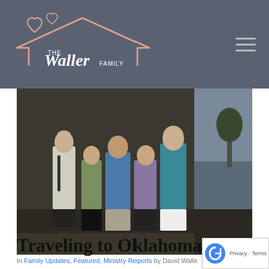THE Waller FAMILY
[Figure (photo): Group photo of the Waller family (5 people) standing together outdoors near a reflective pool and trees. A young man in white shirt and tie, a woman in green cardigan, a man in blue shirt, a woman in the center, a girl in purple, and a tall woman in teal blouse and white skirt.]
Traveling to Oklahoma City
In Family Updates, Featured, Ministry Reports by David Waller / August 31,